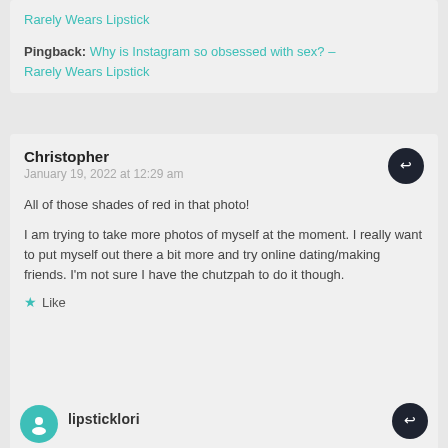Rarely Wears Lipstick
Pingback: Why is Instagram so obsessed with sex? – Rarely Wears Lipstick
Christopher
January 19, 2022 at 12:29 am

All of those shades of red in that photo!

I am trying to take more photos of myself at the moment. I really want to put myself out there a bit more and try online dating/making friends. I'm not sure I have the chutzpah to do it though.
★ Like
lipsticklori